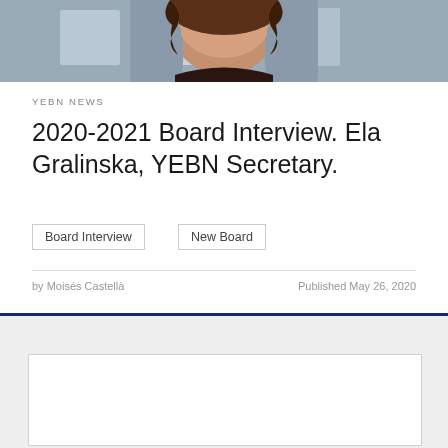[Figure (photo): Partial photo of a person with curly brown hair and dark floral shirt, cropped at the top of the page]
YEBN NEWS
2020-2021 Board Interview. Ela Gralinska, YEBN Secretary.
Board Interview
New Board
by Moisés Castellà
Published May 26, 2020